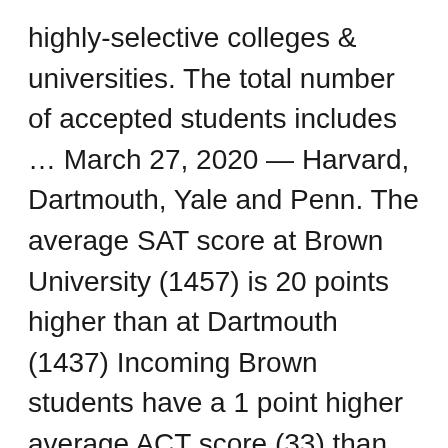highly-selective colleges & universities. The total number of accepted students includes … March 27, 2020 — Harvard, Dartmouth, Yale and Penn. The average SAT score at Brown University (1457) is 20 points higher than at Dartmouth (1437) Incoming Brown students have a 1 point higher average ACT score (33) than students at Dartmouth (32) Dartmouth has a higher acceptance rate (7.9%) than Brown (7.1%) Dartmouth vs. Brown Graduation Outcomes Comparison. The average SAT score at Dartmouth College (1437) is 63 points higher than at Colgate (1374) Incoming Dartmouth students have at the same average ACT score (32) as students at Colgate (32) Colgate has a